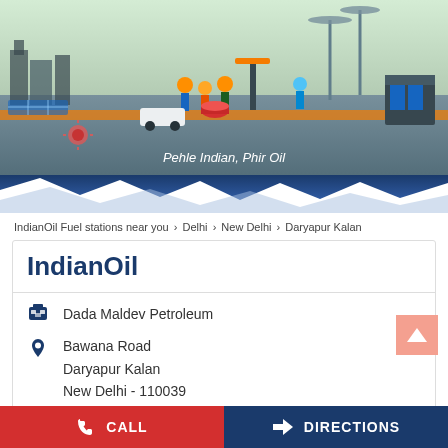[Figure (illustration): IndianOil banner illustration showing industry workers, oil barrel, solar panels, wind turbines, city skyline, fuel pump station. Text reads 'Pehle Indian, Phir Oil'.]
IndianOil Fuel stations near you > Delhi > New Delhi > Daryapur Kalan
IndianOil
Dada Maldev Petroleum
Bawana Road
Daryapur Kalan
New Delhi - 110039
Open until 10:00 PM   OPEN NOW
Mobile Apps
CALL   DIRECTIONS